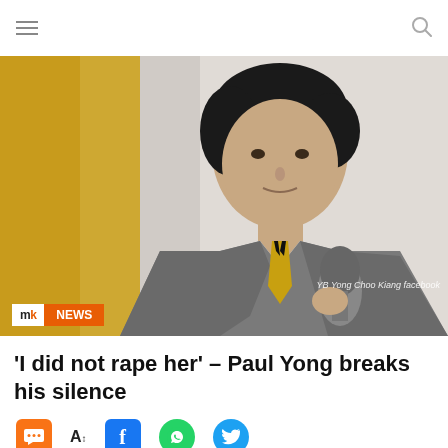mk NEWS
[Figure (photo): Photo of Paul Yong, a man in a gray suit with a gold-striped tie speaking into a microphone, with a yellow and black background. Badge showing mk NEWS logo and photo credit: YB Yong Choo Kiang facebook]
'I did not rape her' – Paul Yong breaks his silence
Social sharing icons: comment, font size, Facebook, WhatsApp, Twitter